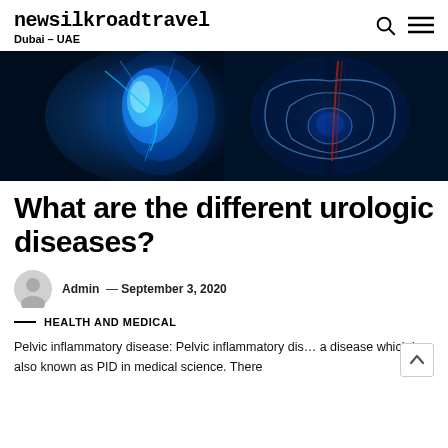newsilkroadtravel
Dubai – UAE
[Figure (photo): Blue-toned medical illustration showing human anatomy with urinary/pelvic organs highlighted in glowing blue on dark background, showing kidney and pelvic region side by side]
What are the different urologic diseases?
Admin — September 3, 2020
— HEALTH AND MEDICAL
Pelvic inflammatory disease: Pelvic inflammatory dis… a disease which is also known as PID in medical science. There